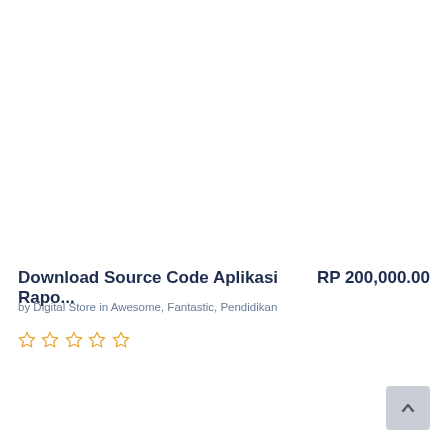Download Source Code Aplikasi Rapo... RP 200,000.00
by Digital Store in Awesome, Fantastic, Pendidikan
[Figure (other): Five empty star rating icons in yellow/orange outline]